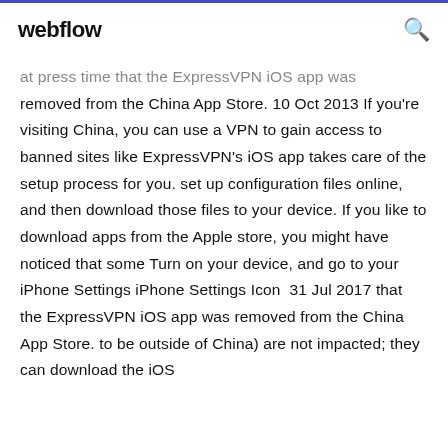webflow
at press time that the ExpressVPN iOS app was removed from the China App Store. 10 Oct 2013 If you're visiting China, you can use a VPN to gain access to banned sites like ExpressVPN's iOS app takes care of the setup process for you. set up configuration files online, and then download those files to your device. If you like to download apps from the Apple store, you might have noticed that some Turn on your device, and go to your iPhone Settings iPhone Settings Icon  31 Jul 2017 that the ExpressVPN iOS app was removed from the China App Store. to be outside of China) are not impacted; they can download the iOS